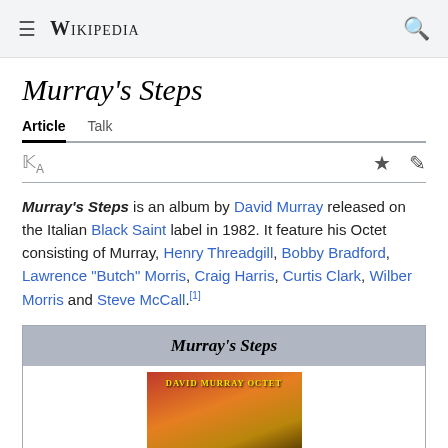Wikipedia
Murray's Steps
Article  Talk
Murray's Steps is an album by David Murray released on the Italian Black Saint label in 1982. It feature his Octet consisting of Murray, Henry Threadgill, Bobby Bradford, Lawrence "Butch" Morris, Craig Harris, Curtis Clark, Wilber Morris and Steve McCall.[1]
| Murray's Steps |
| --- |
| [album cover image] |